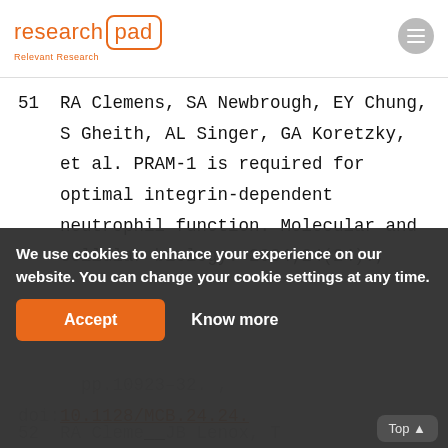research pad – Relevant Research
51  RA Clemens, SA Newbrough, EY Chung, S Gheith, AL Singer, GA Koretzky, et al. PRAM-1 is required for optimal integrin-dependent neutrophil function. Molecular and cellular biology. 2004;24(24):, pp.10923–32., doi:10.1128/MCB.24.24.
We use cookies to enhance your experience on our website. You can change your cookie settings at any time.
52  RA Clemens, JB Lenox, T Kambayash, N Bezman, JS Maltzman, KE Nichols, et al. Lo...